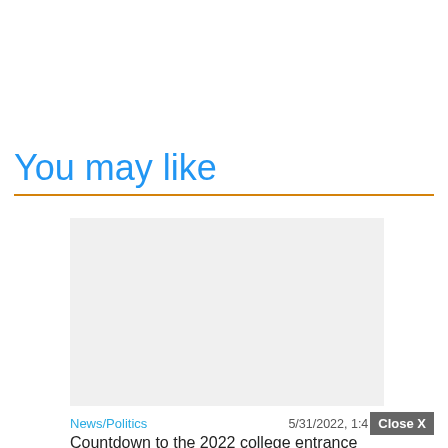You may like
[Figure (photo): Placeholder image area (light gray rectangle) for a news article thumbnail]
News/Politics   5/31/2022, 1:4... Close X
Countdown to the 2022 college entrance examination! These pre-exam reminders